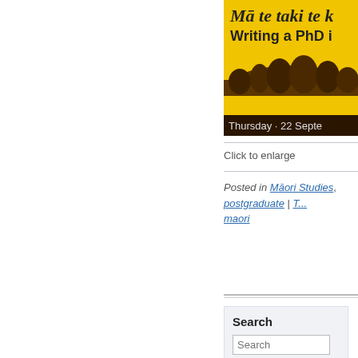[Figure (illustration): Event poster with yellow background, Māori-themed text 'Mā te taki te k...' and 'Writing a PhD i...' with silhouette of trees/people, dark bottom bar with date 'Thursday · 22 Septe...']
Click to enlarge
Posted in Māori Studies, postgraduate | Tagged maori
Search
Search (input field)
Search (button)